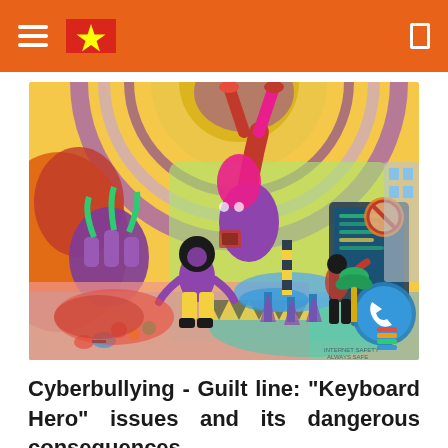Navigation header with hamburger menu, Vietnamese flag, and search icon
[Figure (illustration): Colorful animated illustration showing cartoon characters in a vibrant futuristic room with purple, yellow, pink, green, and blue colors. Characters include one doing a handstand/flip, one with an afro hairstyle in yellow pants, and one near a large blue screen/monitor. The scene features psychedelic swirling patterns on the ceiling, a fountain, and various surreal objects.]
Cyberbullying - Guilt line: “Keyboard Hero” issues and its dangerous consequences